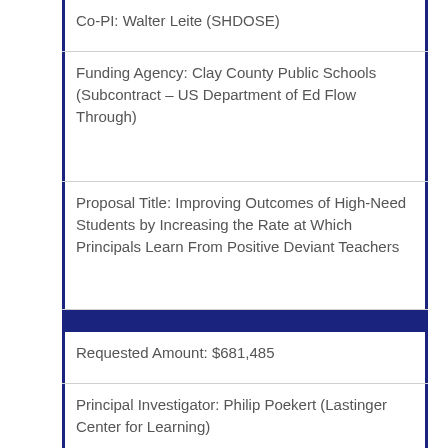Co-PI: Walter Leite (SHDOSE)
Funding Agency: Clay County Public Schools (Subcontract – US Department of Ed Flow Through)
Proposal Title: Improving Outcomes of High-Need Students by Increasing the Rate at Which Principals Learn From Positive Deviant Teachers
Requested Amount: $681,485
Principal Investigator: Philip Poekert (Lastinger Center for Learning)